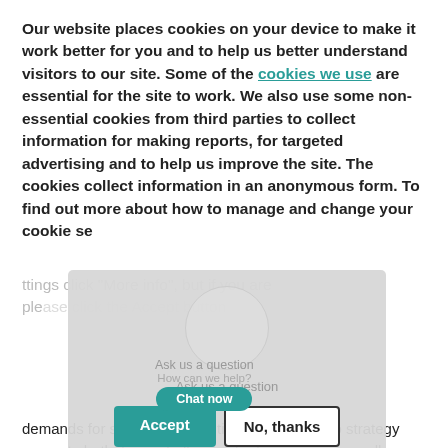Our website places cookies on your device to make it work better for you and to help us better understand visitors to our site. Some of the cookies we use are essential for the site to work. We also use some non-essential cookies from third parties to collect information for making reports, for targeted advertising and to help us improve the site. The cookies collect information in an anonymous form. To find out more about how to manage and change your cookie settings click "More info", but if you are happy to continue please click the Accept button
[Figure (screenshot): Cookie consent dialog overlay with Accept and No, thanks buttons, and a chat widget with 'Ask us a question' and 'How can we help?' text and a 'Chat now' button]
demands for sustainable solutions. The net-zero strategy presents both, huge challenges for businesses as well as opportunities. A key area that exemplifies this is the home renewable energy sector that will see major efforts to install green energy technologies in existing homes across the country as